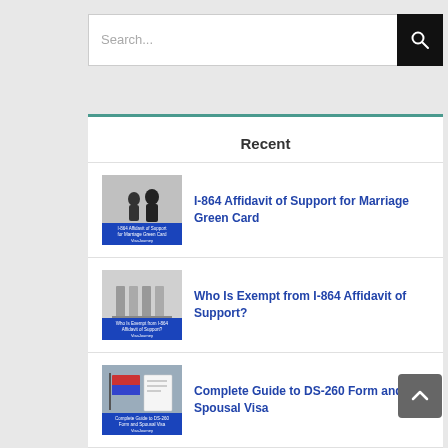[Figure (screenshot): Search bar with text input field and black search button with magnifying glass icon]
Recent
I-864 Affidavit of Support for Marriage Green Card
Who Is Exempt from I-864 Affidavit of Support?
Complete Guide to DS-260 Form and Spousal Visa
What Is Joint Sponsor I-864 Affidavit of